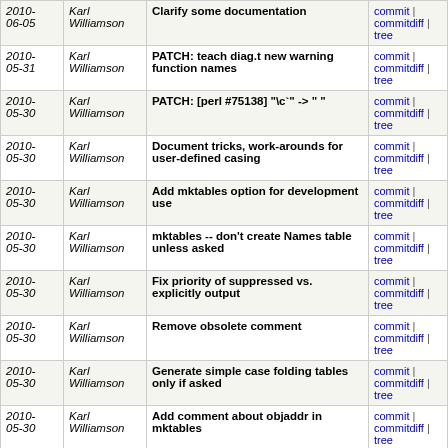| Date | Author | Message | Links |
| --- | --- | --- | --- |
| 2010-06-05 | Karl Williamson | Clarify some documentation | commit | commitdiff | tree |
| 2010-05-31 | Karl Williamson | PATCH: teach diag.t new warning function names | commit | commitdiff | tree |
| 2010-05-30 | Karl Williamson | PATCH: [perl #75138] "\c`" -> " " | commit | commitdiff | tree |
| 2010-05-30 | Karl Williamson | Document tricks, work-arounds for user-defined casing | commit | commitdiff | tree |
| 2010-05-30 | Karl Williamson | Add mktables option for development use | commit | commitdiff | tree |
| 2010-05-30 | Karl Williamson | mktables -- don't create Names table unless asked | commit | commitdiff | tree |
| 2010-05-30 | Karl Williamson | Fix priority of suppressed vs. explicitly output | commit | commitdiff | tree |
| 2010-05-30 | Karl Williamson | Remove obsolete comment | commit | commitdiff | tree |
| 2010-05-30 | Karl Williamson | Generate simple case folding tables only if asked | commit | commitdiff | tree |
| 2010-05-30 | Karl Williamson | Add comment about objaddr in mktables | commit | commitdiff | tree |
| 2010-05-30 | Karl Williamson | Use in-line 'no overloading' for speed | commit | commitdiff | tree |
| 2010-05-30 | Karl Williamson | Don't require doubled backslashes in perldiag.pod | commit | commitdiff | tree |
| 2010-05-29 | Karl Williamson | Clarify that count is bytes not unicode characters | commit | commitdiff | tree |